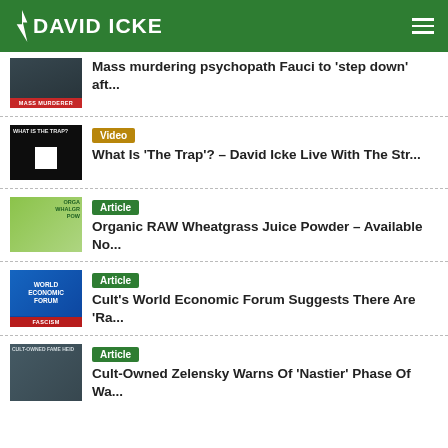David Icke
Mass murdering psychopath Fauci to 'step down' aft...
Video – What Is 'The Trap'? – David Icke Live With The Str...
Article – Organic RAW Wheatgrass Juice Powder – Available No...
Article – Cult's World Economic Forum Suggests There Are 'Ra...
Article – Cult-Owned Zelensky Warns Of 'Nastier' Phase Of Wa...